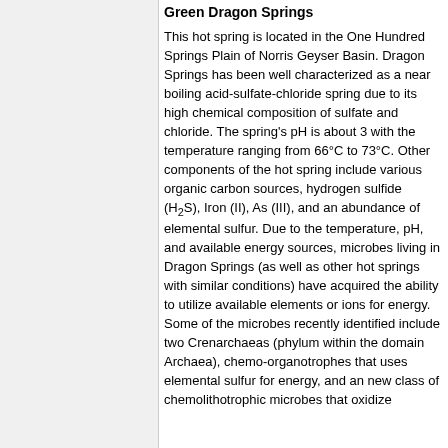Green Dragon Springs
This hot spring is located in the One Hundred Springs Plain of Norris Geyser Basin. Dragon Springs has been well characterized as a near boiling acid-sulfate-chloride spring due to its high chemical composition of sulfate and chloride. The spring's pH is about 3 with the temperature ranging from 66°C to 73°C. Other components of the hot spring include various organic carbon sources, hydrogen sulfide (H₂S), Iron (II), As (III), and an abundance of elemental sulfur. Due to the temperature, pH, and available energy sources, microbes living in Dragon Springs (as well as other hot springs with similar conditions) have acquired the ability to utilize available elements or ions for energy. Some of the microbes recently identified include two Crenarchaeas (phylum within the domain Archaea), chemo-organotrophes that uses elemental sulfur for energy, and an new class of chemolithotrophic microbes that oxidize